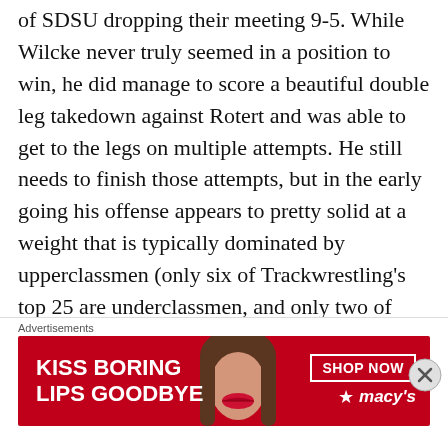of SDSU dropping their meeting 9-5. While Wilcke never truly seemed in a position to win, he did manage to score a beautiful double leg takedown against Rotert and was able to get to the legs on multiple attempts. He still needs to finish those attempts, but in the early going his offense appears to pretty solid at a weight that is typically dominated by upperclassmen (only six of Trackwrestling's top 25 are underclassmen, and only two of those wrestlers make the top 10).
There is the potential that Wilcke will be pushed for his starting spot, but we will address that in
Advertisements
[Figure (other): Advertisement banner for Macy's with text 'KISS BORING LIPS GOODBYE' and 'SHOP NOW' button with Macy's logo and a woman's face showing lips.]